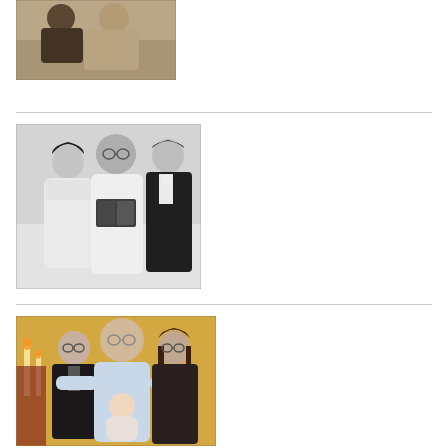[Figure (photo): Sepia-toned vintage black and white photo of two people, appears to be two individuals seated together, one in dark clothing and one in lighter clothing]
[Figure (photo): Black and white wedding ceremony photo showing a bride, officiant/priest in white robes, and groom in tuxedo with boutonniere, exchanging vows with an open book]
[Figure (photo): Color photo of three people posed together in what appears to be an indoor setting with candles and warm-toned decor, one person holding a baby]